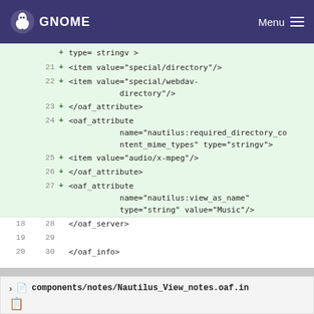GNOME  Menu
[Figure (screenshot): Code diff view showing XML oaf file lines 21-30 with added lines marked with + in green highlight, followed by unchanged lines 18-20 / 28-30 showing closing oaf_server and oaf_info tags]
components/notes/Nautilus_View_notes.oaf.in